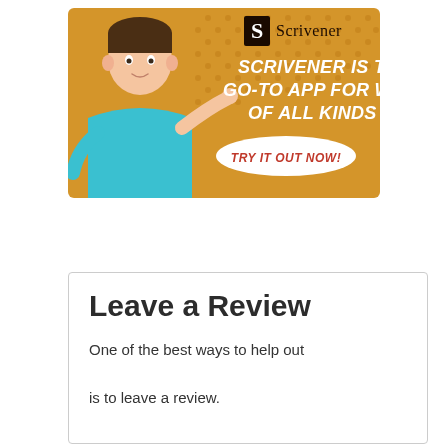[Figure (illustration): Scrivener advertisement banner with golden/orange background with dot pattern, cartoon man in blue shirt pointing, Scrivener logo top right, white bold italic text reading SCRIVENER IS THE GO-TO APP FOR WRITERS OF ALL KINDS, white oval button with red italic text TRY IT OUT NOW!]
Leave a Review
One of the best ways to help out is to leave a review.